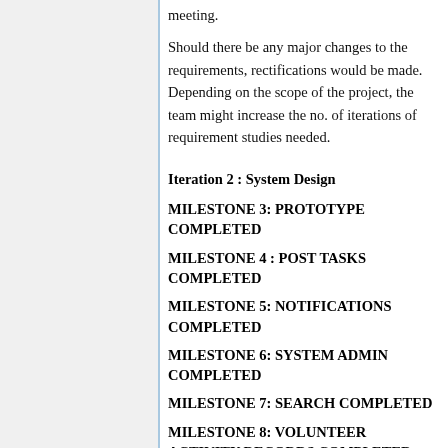meeting.
Should there be any major changes to the requirements, rectifications would be made. Depending on the scope of the project, the team might increase the no. of iterations of requirement studies needed.
Iteration 2 : System Design
MILESTONE 3: PROTOTYPE COMPLETED
MILESTONE 4 : POST TASKS COMPLETED
MILESTONE 5: NOTIFICATIONS COMPLETED
MILESTONE 6: SYSTEM ADMIN COMPLETED
MILESTONE 7: SEARCH COMPLETED
MILESTONE 8: VOLUNTEER ACTIVITY RECORDS COMPLETED